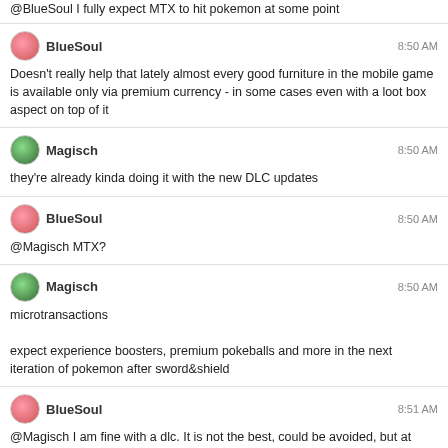@BlueSoul I fully expect MTX to hit pokemon at some point
BlueSoul 8:50 AM
Doesn't really help that lately almost every good furniture in the mobile game is available only via premium currency - in some cases even with a loot box aspect on top of it
Magisch 8:50 AM
they're already kinda doing it with the new DLC updates
BlueSoul 8:50 AM
@Magisch MTX?
Magisch 8:50 AM
microtransactions
expect experience boosters, premium pokeballs and more in the next iteration of pokemon after sword&shield
BlueSoul 8:51 AM
@Magisch I am fine with a dlc. It is not the best, could be avoided, but at least they give me new areas, story, plot and such.
In the mobile Animal Crossing version you pay 50leaf ticket (the game premium currency) for a loot box.
for reference:
[Figure (screenshot): Screenshot of 'Purchase Leaf Tickets' in-app purchase screen showing: 40+5 bonus = 45 for $1.99, and 80+20 bonus = 100 for $3.99]